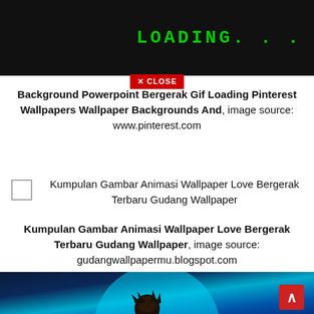[Figure (screenshot): Black advertisement banner with green monospace 'LOADING...' text and a red 'X CLOSE' button overlay]
Background Powerpoint Bergerak Gif Loading Pinterest Wallpapers Wallpaper Backgrounds And, image source: www.pinterest.com
[Figure (screenshot): Checkbox thumbnail placeholder for Kumpulan Gambar Animasi Wallpaper Love Bergerak Terbaru Gudang Wallpaper]
Kumpulan Gambar Animasi Wallpaper Love Bergerak Terbaru Gudang Wallpaper
Kumpulan Gambar Animasi Wallpaper Love Bergerak Terbaru Gudang Wallpaper, image source: gudangwallpapermu.blogspot.com
[Figure (illustration): Anime character with dark hair against a large glowing blue moon background, dark night scene]